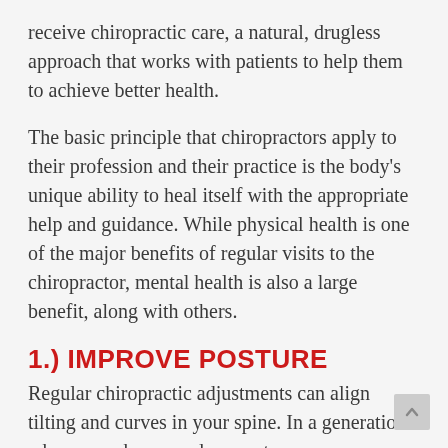receive chiropractic care, a natural, drugless approach that works with patients to help them to achieve better health.
The basic principle that chiropractors apply to their profession and their practice is the body's unique ability to heal itself with the appropriate help and guidance. While physical health is one of the major benefits of regular visits to the chiropractor, mental health is also a large benefit, along with others.
1.) IMPROVE POSTURE
Regular chiropractic adjustments can align tilting and curves in your spine. In a generation where our phones and computers are more